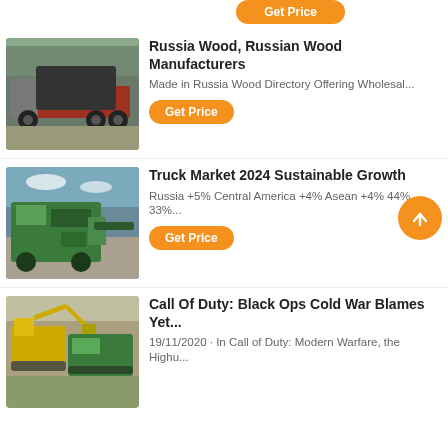[Figure (photo): Get Price button at top (partially visible)]
[Figure (photo): Heavy machinery on flatbed truck, industrial yard]
Russia Wood, Russian Wood Manufacturers
Made in Russia Wood Directory Offering Wholesal...
Get Price
[Figure (photo): Green industrial wood crusher/shredder machine outdoors]
Truck Market 2024 Sustainable Growth
Russia +5% Central America +4% Asean +4% 44% 33%...
Get Price
[Figure (photo): Yellow excavator and green machinery on gravel/stone pile]
Call Of Duty: Black Ops Cold War Blames Yet...
19/11/2020 · In Call of Duty: Modern Warfare, the Highu...